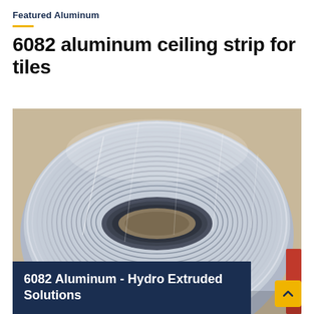Featured Aluminum
6082 aluminum ceiling strip for tiles
[Figure (photo): A large coil/roll of shiny metallic aluminum strip or foil tightly wound, viewed from slightly above showing the spiral layers, with a cardboard core visible in the center. The coil rests on a surface.]
6082 Aluminum - Hydro Extruded Solutions